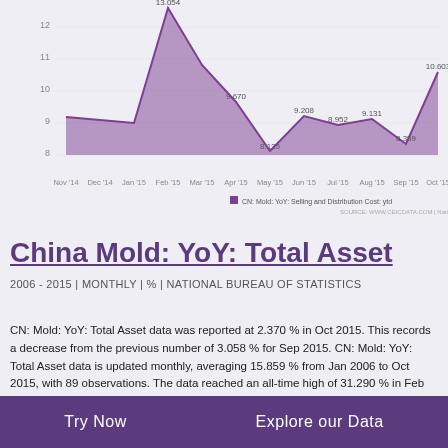[Figure (line-chart): CN: Mold: YoY: Selling and Distribution Cost: ytd]
China Mold: YoY: Total Asset
2006 - 2015 | MONTHLY | % | NATIONAL BUREAU OF STATISTICS
CN: Mold: YoY: Total Asset data was reported at 2.370 % in Oct 2015. This records a decrease from the previous number of 3.058 % for Sep 2015. CN: Mold: YoY: Total Asset data is updated monthly, averaging 15.859 % from Jan 2006 to Oct 2015, with 89 observations. The data reached an all-time high of 31.290 % in Feb 2006 and a record low of 2.370 % in Oct 2015. CN: Mold: YoY: Total Asset data remains active status in CEIC and is reported by National Bureau of Statistics. The data is categorized under China Premium Database's Industrial Sector
Try Now   Explore our Data